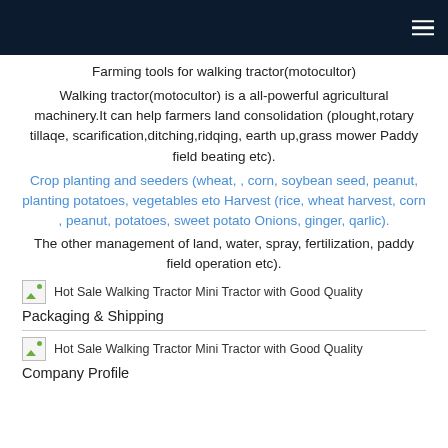Farming tools for walking tractor(motocultor)
Walking tractor(motocultor) is a all-powerful agricultural machinery.It can help farmers land consolidation (plought,rotary tillaqe, scarification,ditching,ridqing, earth up,grass mower Paddy field beating etc).
Crop planting and seeders (wheat, , corn, soybean seed, peanut, planting potatoes, vegetables eto Harvest (rice, wheat harvest, corn , peanut, potatoes, sweet potato Onions, ginger, qarlic).
The other management of land, water, spray, fertilization, paddy field operation etc).
[Figure (photo): Hot Sale Walking Tractor Mini Tractor with Good Quality]
Packaging & Shipping
[Figure (photo): Hot Sale Walking Tractor Mini Tractor with Good Quality]
Company Profile